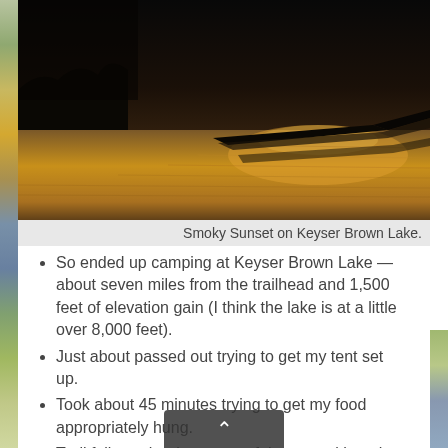[Figure (photo): Silhouette of a canoe or boat on a calm lake at sunset, with golden-brown reflection on the water surface and dark sky above.]
Smoky Sunset on Keyser Brown Lake.
So ended up camping at Keyser Brown Lake — about seven miles from the trailhead and 1,500 feet of elevation gain (I think the lake is at a little over 8,000 feet).
Just about passed out trying to get my tent set up.
Took about 45 minutes trying to get my food appropriately hung.
Trail follows the river most of the way, although there are some miles where there are trees